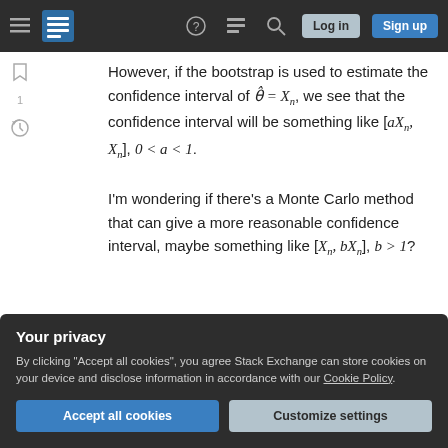Stack Exchange navigation bar with hamburger menu, logo, help, chat, search, Log in, Sign up buttons
However, if the bootstrap is used to estimate the confidence interval of θ̂ = X_n, we see that the confidence interval will be something like [aX_n, X_n], 0 < a < 1.
I'm wondering if there's a Monte Carlo method that can give a more reasonable confidence interval, maybe something like [X_n, bX_n], b > 1?
confidence-interval
bootstrap
monte-carlo
Your privacy
By clicking "Accept all cookies", you agree Stack Exchange can store cookies on your device and disclose information in accordance with our Cookie Policy.
Accept all cookies | Customize settings